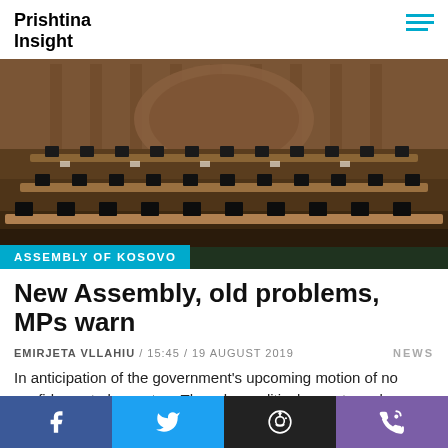Prishtina Insight
[Figure (photo): Empty Assembly of Kosovo chamber with tiered rows of desks, microphones, and monitors visible; wooden paneling throughout.]
ASSEMBLY OF KOSOVO
New Assembly, old problems, MPs warn
EMIRJETA VLLAHIU / 15:45 / 19 AUGUST 2019   NEWS
In anticipation of the government's upcoming motion of no confidence to be cast on Thursday, political experts and members of the Kosovo Assembly warn of